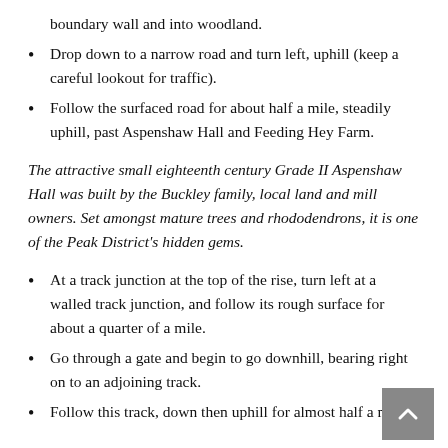boundary wall and into woodland.
Drop down to a narrow road and turn left, uphill (keep a careful lookout for traffic).
Follow the surfaced road for about half a mile, steadily uphill, past Aspenshaw Hall and Feeding Hey Farm.
The attractive small eighteenth century Grade II Aspenshaw Hall was built by the Buckley family, local land and mill owners. Set amongst mature trees and rhododendrons, it is one of the Peak District's hidden gems.
At a track junction at the top of the rise, turn left at a walled track junction, and follow its rough surface for about a quarter of a mile.
Go through a gate and begin to go downhill, bearing right on to an adjoining track.
Follow this track, down then uphill for almost half a mile